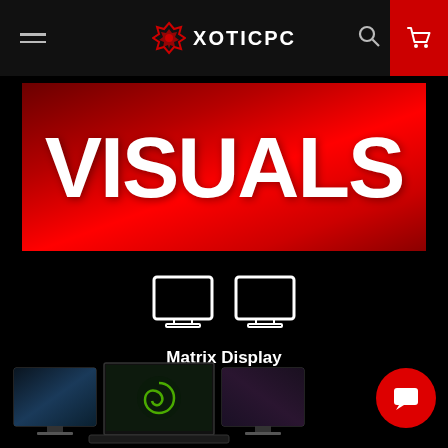XOTICPC
VISUALS
[Figure (illustration): Two monitor icons side by side representing Matrix Display feature]
Matrix Display
[Figure (photo): Laptop with two external monitors showing gaming visuals, green spiral logo on center screen]